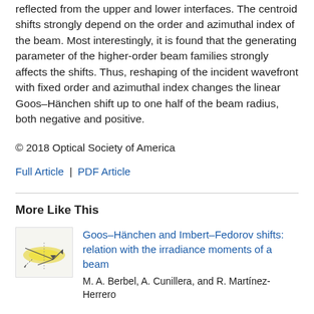reflected from the upper and lower interfaces. The centroid shifts strongly depend on the order and azimuthal index of the beam. Most interestingly, it is found that the generating parameter of the higher-order beam families strongly affects the shifts. Thus, reshaping of the incident wavefront with fixed order and azimuthal index changes the linear Goos–Hänchen shift up to one half of the beam radius, both negative and positive.
© 2018 Optical Society of America
Full Article | PDF Article
More Like This
[Figure (illustration): Thumbnail image for related article about Goos-Hänchen and Imbert-Fedorov shifts, showing beam optics diagram with yellow/gold colored light beam]
Goos–Hänchen and Imbert–Fedorov shifts: relation with the irradiance moments of a beam
M. A. Berbel, A. Cunillera, and R. Martínez-Herrero